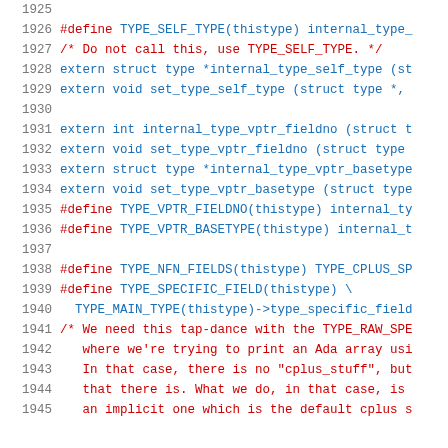Source code listing, lines 1925-1945, showing C preprocessor macros and extern declarations for type system functions including TYPE_SELF_TYPE, internal_type_vptr_fieldno, set_type_vptr_fieldno, internal_type_vptr_basetype, set_type_vptr_basetype, TYPE_VPTR_FIELDNO, TYPE_VPTR_BASETYPE, TYPE_NFN_FIELDS, TYPE_SPECIFIC_FIELD, and a comment block about tap-dance with TYPE_RAW_SPE involving Ada array printing.